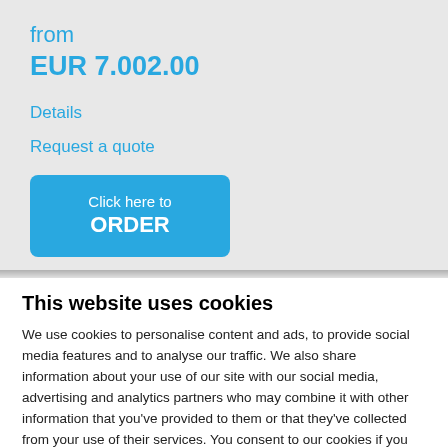from
EUR 7.002.00
Details
Request a quote
Click here to ORDER
This website uses cookies
We use cookies to personalise content and ads, to provide social media features and to analyse our traffic. We also share information about your use of our site with our social media, advertising and analytics partners who may combine it with other information that you've provided to them or that they've collected from your use of their services. You consent to our cookies if you continue to use our website.
Use necessary cookies only
Allow all cookies
Show details ∨